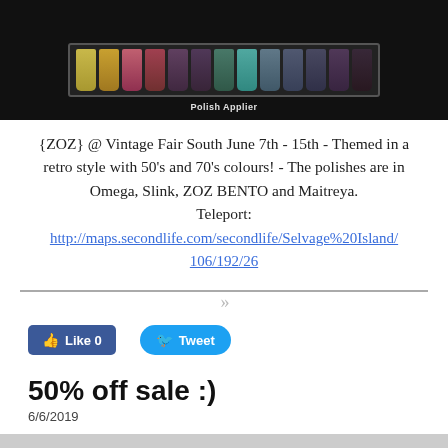[Figure (screenshot): Screenshot of nail polish bottles arranged in a row on a black background with 'Polish Applier' label beneath]
{ZOZ} @ Vintage Fair South June 7th - 15th - Themed in a retro style with 50's and 70's colours! - The polishes are in Omega, Slink, ZOZ BENTO and Maitreya. Teleport: http://maps.secondlife.com/secondlife/Selvage%20Island/106/192/26
[Figure (infographic): Divider line with double chevron symbols]
[Figure (screenshot): Facebook Like 0 button and Twitter Tweet button]
50% off sale  :)
6/6/2019
[Figure (infographic): Divider line with double chevron symbols at bottom]